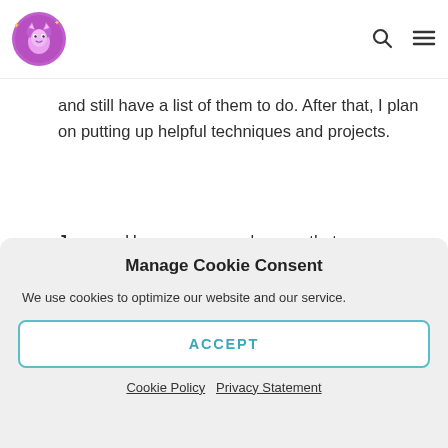[Logo: cartoon cat icon] [Search icon] [Menu icon]
and still have a list of them to do. After that, I plan on putting up helpful techniques and projects.
Joanne: Have u ever used a yarn that company gave u to make a pattern that u disliked?
Manage Cookie Consent
We use cookies to optimize our website and our service.
ACCEPT
Cookie Policy  Privacy Statement